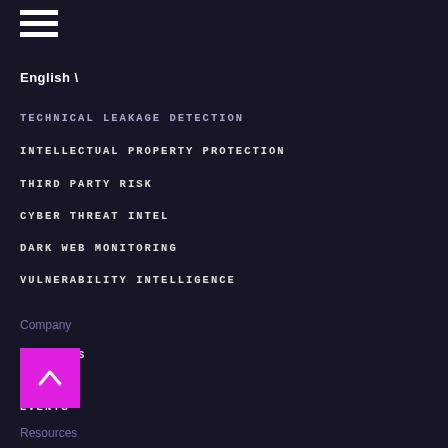[Figure (other): Hamburger menu icon with three horizontal white lines]
English
TECHNICAL LEAKAGE DETECTION
INTELLECTUAL PROPERTY PROTECTION
THIRD PARTY RISK
CYBER THREAT INTEL
DARK WEB MONITORING
VULNERABILITY INTELLIGENCE
Company
ABOUT US
CAREERS
EVENTS
PRESS
PARTNERS
REPORT VULNERABILITY
[Figure (other): Back to top button: magenta square with white upward arrow]
Resources